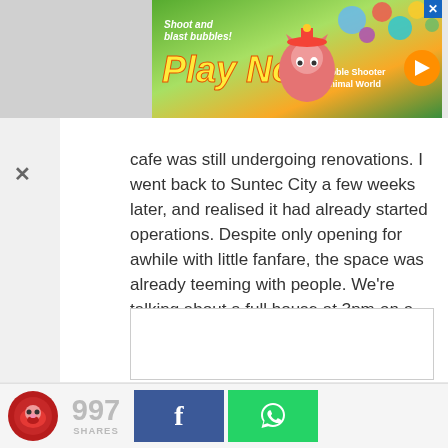[Figure (illustration): Colorful game advertisement banner showing 'Shoot and blast bubbles! Play Now' text with cartoon animal characters and bubble shooter game graphics. A close button (X) is in the top right corner. Text on the right reads 'Bubble Shooter Animal World'.]
cafe was still undergoing renovations. I went back to Suntec City a few weeks later, and realised it had already started operations. Despite only opening for awhile with little fanfare, the space was already teeming with people. We're talking about a full house at 3pm on a weekday.
[Figure (photo): Empty white image box placeholder with thin border]
997 SHARES [Facebook share button] [WhatsApp share button]